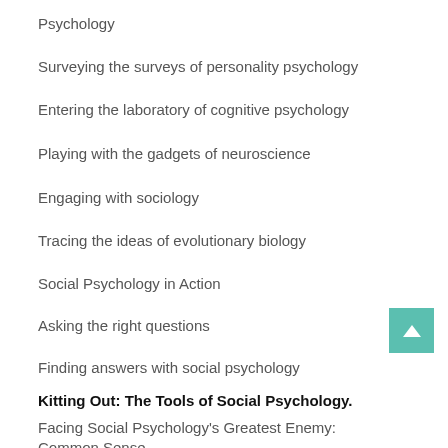Psychology
Surveying the surveys of personality psychology
Entering the laboratory of cognitive psychology
Playing with the gadgets of neuroscience
Engaging with sociology
Tracing the ideas of evolutionary biology
Social Psychology in Action
Asking the right questions
Finding answers with social psychology
Kitting Out: The Tools of Social Psychology.
Facing Social Psychology's Greatest Enemy: Common Sense